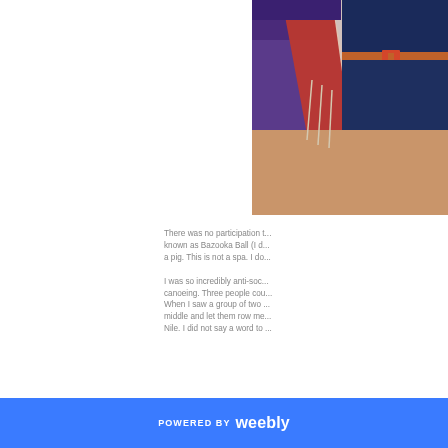[Figure (photo): Cropped photo of a person wearing denim shorts and a red, white and cream fringed wrap/flag over a purple top, with an orange/brown belt.]
There was no participation t... known as Bazooka Ball (I d... a pig. This is not a spa. I do...
I was so incredibly anti-soc... canoeing. Three people cou... When I saw a group of two ... middle and let them row me... Nile. I did not say a word to ...
POWERED BY weebly